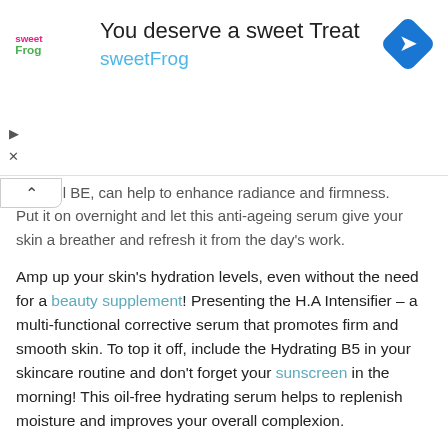[Figure (screenshot): Advertisement banner for sweetFrog with logo, tagline 'You deserve a sweet Treat', brand name 'sweetFrog', and a blue navigation/direction icon on the right. UI controls (play arrow, X close) on left side.]
veratrol BE, can help to enhance radiance and firmness. Put it on overnight and let this anti-ageing serum give your skin a breather and refresh it from the day's work.
Amp up your skin's hydration levels, even without the need for a beauty supplement! Presenting the H.A Intensifier – a multi-functional corrective serum that promotes firm and smooth skin. To top it off, include the Hydrating B5 in your skincare routine and don't forget your sunscreen in the morning! This oil-free hydrating serum helps to replenish moisture and improves your overall complexion.
Shop SkinCeuticals Singapore
[Figure (photo): Two black dropper bottle tops/caps partially visible at the bottom of the page.]